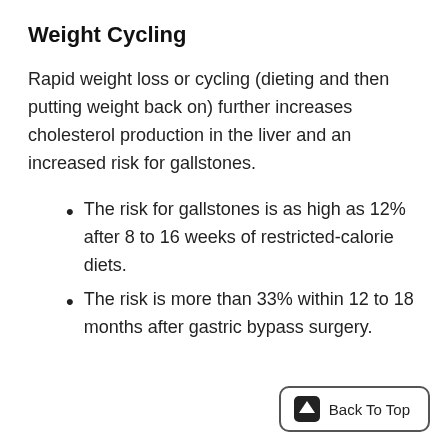Weight Cycling
Rapid weight loss or cycling (dieting and then putting weight back on) further increases cholesterol production in the liver and an increased risk for gallstones.
The risk for gallstones is as high as 12% after 8 to 16 weeks of restricted-calorie diets.
The risk is more than 33% within 12 to 18 months after gastric bypass surgery.